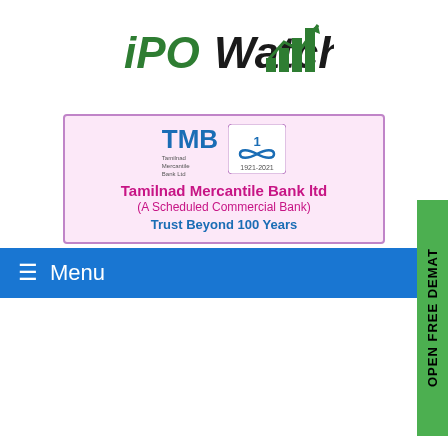[Figure (logo): iPOWatch logo with green arrow chart icon and italic bold text]
[Figure (logo): Tamilnad Mercantile Bank Ltd banner with TMB logo, 100 years infinity logo, bank name in pink, tagline Trust Beyond 100 Years in blue]
≡ Menu
[Figure (other): OPEN FREE DEMAT vertical green tab on right side]